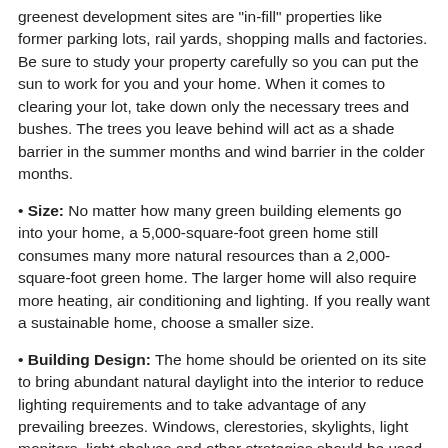greenest development sites are "in-fill" properties like former parking lots, rail yards, shopping malls and factories. Be sure to study your property carefully so you can put the sun to work for you and your home. When it comes to clearing your lot, take down only the necessary trees and bushes. The trees you leave behind will act as a shade barrier in the summer months and wind barrier in the colder months.
Size: No matter how many green building elements go into your home, a 5,000-square-foot green home still consumes many more natural resources than a 2,000-square-foot green home. The larger home will also require more heating, air conditioning and lighting. If you really want a sustainable home, choose a smaller size.
Building Design: The home should be oriented on its site to bring abundant natural daylight into the interior to reduce lighting requirements and to take advantage of any prevailing breezes. Windows, clerestories, skylights, light monitors, light shelves and other strategies should be used to bring daylight to the interior of the house. The exterior should have shading devices (sunshades, canopies, green screens and